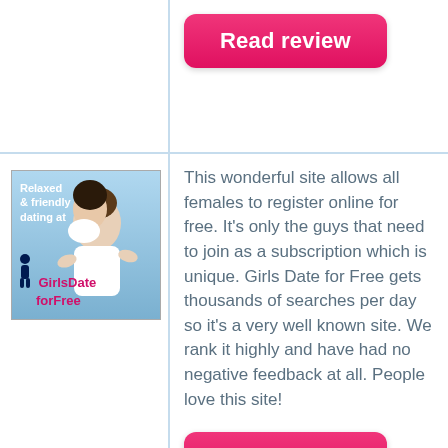[Figure (screenshot): Top section: right column showing a pink 'Read review' button, partially visible from a previous listing row.]
[Figure (photo): GirlsDate for Free banner image: couple smiling, text 'Relaxed & friendly dating at GirlsDate forFree']
This wonderful site allows all females to register online for free. It's only the guys that need to join as a subscription which is unique. Girls Date for Free gets thousands of searches per day so it's a very well known site. We rank it highly and have had no negative feedback at all. People love this site!
[Figure (screenshot): Pink rounded 'Read review' button]
[Figure (logo): Friends Reunited Dating logo: orange/yellow gradient background with dating bars logo and text 'Friends Reunited Dating', sign in email field]
After the huge success of the orignal school friends social networking site Friends Reunited, they launched off